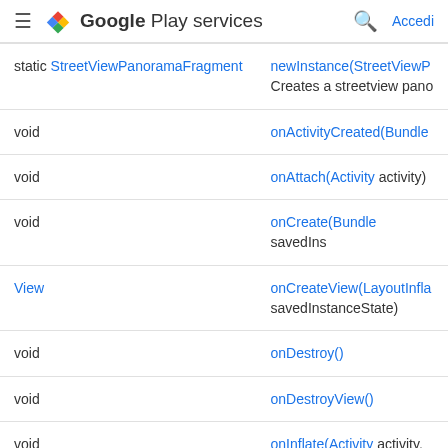Google Play services
| Return type | Method |
| --- | --- |
| static StreetViewPanoramaFragment | newInstance(StreetViewP…
Creates a streetview pano… |
| void | onActivityCreated(Bundle… |
| void | onAttach(Activity activity) |
| void | onCreate(Bundle savedIns… |
| View | onCreateView(LayoutInfla… savedInstanceState) |
| void | onDestroy() |
| void | onDestroyView() |
| void | onInflate(Activity activity,… savedInstanceState)
Parse attributes during inf… arguments we handle. |
| void | onLowMemory() |